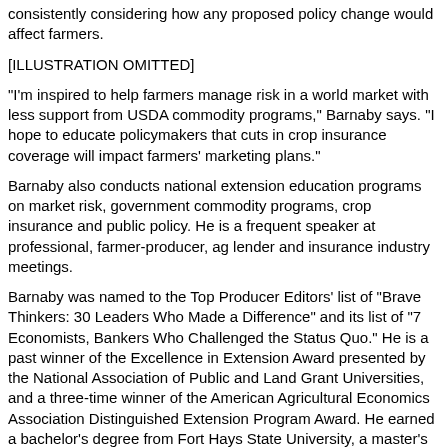consistently considering how any proposed policy change would affect farmers.
[Figure (illustration): Illustration omitted]
"I'm inspired to help farmers manage risk in a world market with less support from USDA commodity programs," Barnaby says. "I hope to educate policymakers that cuts in crop insurance coverage will impact farmers' marketing plans."
Barnaby also conducts national extension education programs on market risk, government commodity programs, crop insurance and public policy. He is a frequent speaker at professional, farmer-producer, ag lender and insurance industry meetings.
Barnaby was named to the Top Producer Editors' list of "Brave Thinkers: 30 Leaders Who Made a Difference" and its list of "7 Economists, Bankers Who Challenged the Status Quo." He is a past winner of the Excellence in Extension Award presented by the National Association of Public and Land Grant Universities, and a three-time winner of the American Agricultural Economics Association Distinguished Extension Program Award. He earned a bachelor's degree from Fort Hays State University, a master's degree from New Mexico State University and a doctorate in Agricultural Economics from Texas A&M University.
[Figure (illustration): Illustration omitted]
Odessa R. Oldham
[Figure (illustration): Illustration omitted]